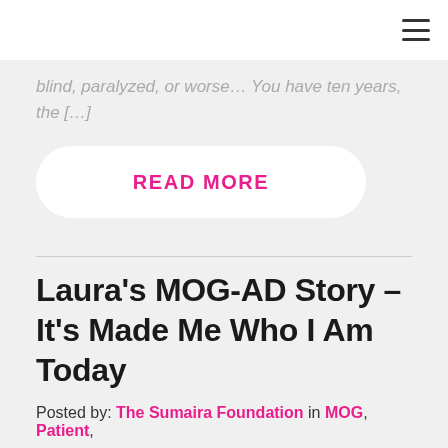☰
blind, paralyzed, or worse… You have ten years, the […]
READ MORE
Laura's MOG-AD Story – It's Made Me Who I Am Today
Posted by: The Sumaira Foundation in MOG, Patient,